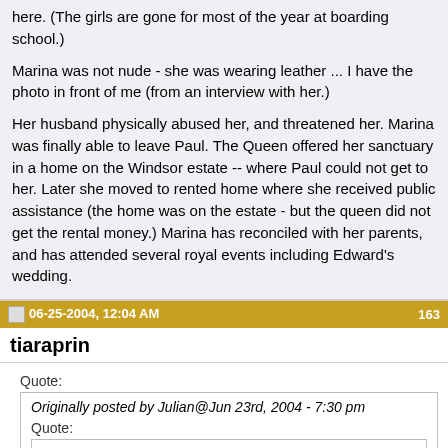here. (The girls are gone for most of the year at boarding school.)

Marina was not nude - she was wearing leather ... I have the photo in front of me (from an interview with her.)

Her husband physically abused her, and threatened her. Marina was finally able to leave Paul. The Queen offered her sanctuary in a home on the Windsor estate -- where Paul could not get to her. Later she moved to rented home where she received public assistance (the home was on the estate - but the queen did not get the rental money.) Marina has reconciled with her parents, and has attended several royal events including Edward&#39;s wedding.
06-25-2004, 12:04 AM  163
tiaraprin
Quote:
Originally posted by Julian@Jun 23rd, 2004 - 7:30 pm
Quote:
Philip was also close to the QM.

Not what I&#39;ve ever heard, quite the contrary. Some people even say they never spoke to each other out of the